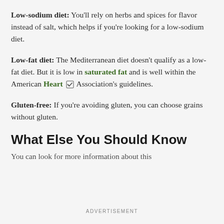Low-sodium diet: You'll rely on herbs and spices for flavor instead of salt, which helps if you're looking for a low-sodium diet.
Low-fat diet: The Mediterranean diet doesn't qualify as a low-fat diet. But it is low in saturated fat and is well within the American Heart [checkbox] Association's guidelines.
Gluten-free: If you're avoiding gluten, you can choose grains without gluten.
What Else You Should Know
You can look for more information about this
ADVERTISEMENT